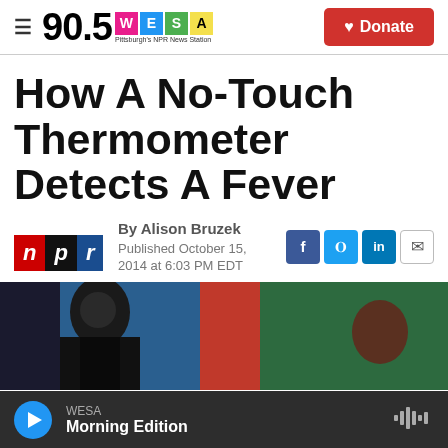90.5 WESA Pittsburgh's NPR News Station | Donate
How A No-Touch Thermometer Detects A Fever
By Alison Bruzek
Published October 15, 2014 at 6:03 PM EDT
[Figure (photo): Article photo showing a person being scanned with a no-touch thermometer]
WESA Morning Edition